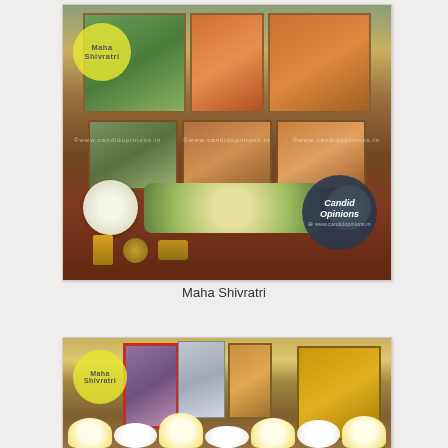[Figure (photo): A Hindu puja altar decorated for Maha Shivratri with framed deity pictures (Ganesha, Jagannath, Narasimha and others), brass lamps, and white and yellow flower decorations. Watermark circles: yellow circle top-left with 'Maha Shivratri' text, dark blue circle bottom-right with 'Candid Opinions www.candidopinions.in'.]
Maha Shivratri
[Figure (photo): A close-up of a Hindu puja arrangement for Maha Shivratri with framed deity pictures, silver-wrapped items, and elaborate white and yellow flower decorations including lotus flowers and jasmine. Yellow watermark circle top-left with 'Maha Shivratri' text.]